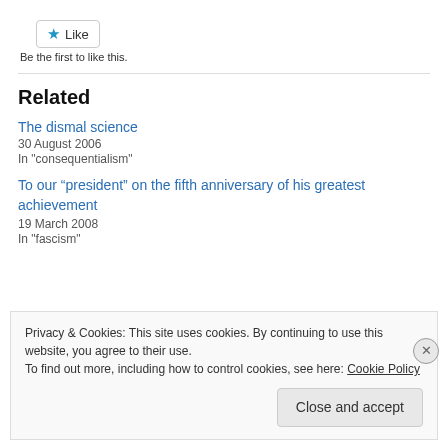[Figure (other): Like button with blue star icon and 'Like' text]
Be the first to like this.
Related
The dismal science
30 August 2006
In "consequentialism"
To our “president” on the fifth anniversary of his greatest achievement
19 March 2008
In "fascism"
Privacy & Cookies: This site uses cookies. By continuing to use this website, you agree to their use.
To find out more, including how to control cookies, see here: Cookie Policy
Close and accept